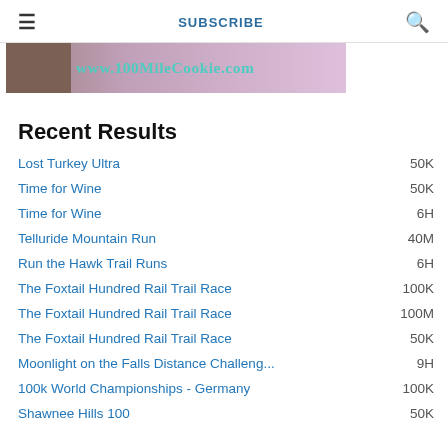≡   SUBSCRIBE   🔍
[Figure (photo): Banner image with www.100MileCookie.com text overlay on a pink/mauve background]
Recent Results
Lost Turkey Ultra   50K
Time for Wine   50K
Time for Wine   6H
Telluride Mountain Run   40M
Run the Hawk Trail Runs   6H
The Foxtail Hundred Rail Trail Race   100K
The Foxtail Hundred Rail Trail Race   100M
The Foxtail Hundred Rail Trail Race   50K
Moonlight on the Falls Distance Challeng...   9H
100k World Championships - Germany   100K
Shawnee Hills 100   50K